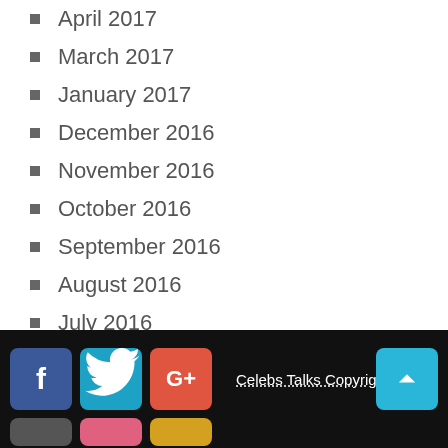April 2017
March 2017
January 2017
December 2016
November 2016
October 2016
September 2016
August 2016
July 2016
June 2016
May 2016
April 2016
Celebs Talks Copyright ©